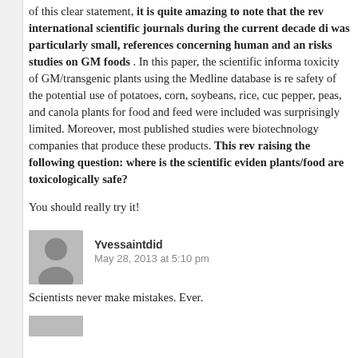of this clear statement, it is quite amazing to note that the rev international scientific journals during the current decade di was particularly small, references concerning human and an risks studies on GM foods . In this paper, the scientific informa toxicity of GM/transgenic plants using the Medline database is re safety of the potential use of potatoes, corn, soybeans, rice, cuc pepper, peas, and canola plants for food and feed were included was surprisingly limited. Moreover, most published studies were biotechnology companies that produce these products. This rev raising the following question: where is the scientific eviden plants/food are toxicologically safe?
You should really try it!
Yvessaintdid
May 28, 2013 at 5:10 pm
Scientists never make mistakes. Ever.